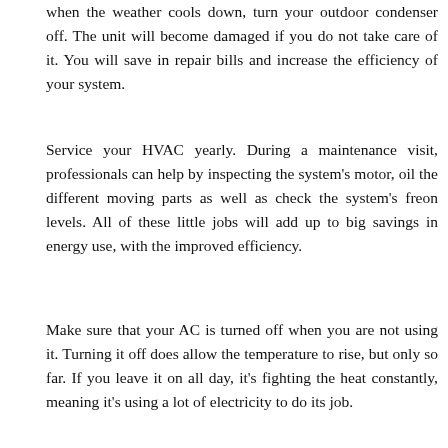when the weather cools down, turn your outdoor condenser off. The unit will become damaged if you do not take care of it. You will save in repair bills and increase the efficiency of your system.
Service your HVAC yearly. During a maintenance visit, professionals can help by inspecting the system's motor, oil the different moving parts as well as check the system's freon levels. All of these little jobs will add up to big savings in energy use, with the improved efficiency.
Make sure that your AC is turned off when you are not using it. Turning it off does allow the temperature to rise, but only so far. If you leave it on all day, it's fighting the heat constantly, meaning it's using a lot of electricity to do its job.